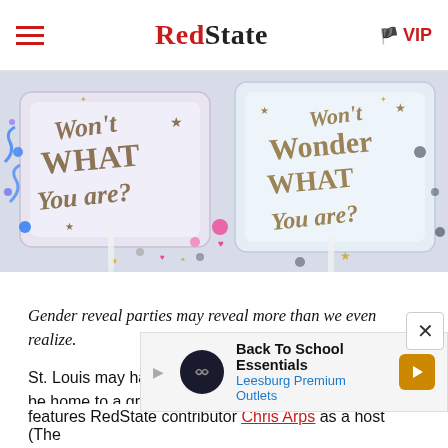RedState | VIP
[Figure (photo): Gender reveal party supplies including white paddle fans with gold handwritten script text 'Won't Wonder What You Are?' surrounded by colorful confetti and decorations in pink and blue]
Gender reveal parties may reveal more than we even realize.
St. Louis may have its issues, but we are fortunate to be home to a great radio station — KFTK/NewsTalk 97.1
[Figure (screenshot): Advertisement banner for Back To School Essentials at Leesburg Premium Outlets]
features RedState contributor Chris Arps as a host (The